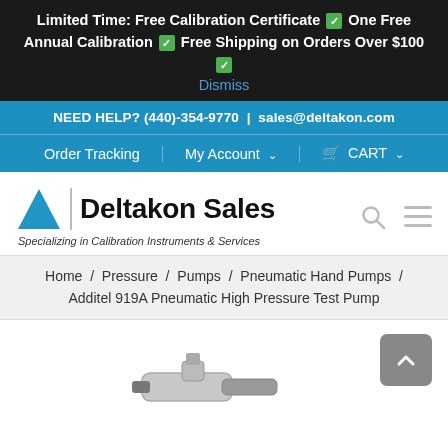Limited Time: Free Calibration Certificate ✅ One Free Annual Calibration ✅ Free Shipping on Orders Over $100 ✅
Dismiss
NEED HELP? (440)-354-9770 | sales@deltakon.com
Order Tracking  My Account ⌄  🛒 CART ⌄
[Figure (logo): Deltakon Sales logo with blue triangle and text 'Specializing in Calibration Instruments & Services']
Home / Pressure / Pumps / Pneumatic Hand Pumps / Additel 919A Pneumatic High Pressure Test Pump
[Figure (photo): Partial view of a pneumatic hand pump (Additel 919A) at the bottom of the page, with a scroll-to-top button in the upper right]